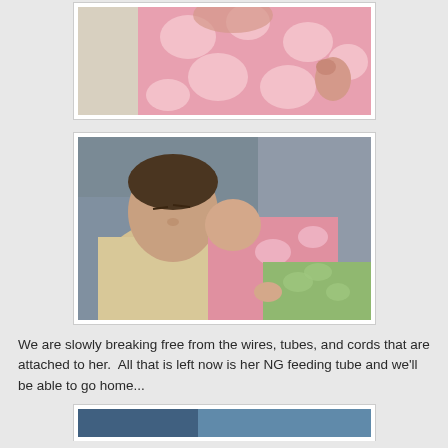[Figure (photo): Close-up photo of a baby in a pink giraffe-print onesie, partial view showing torso and hands]
[Figure (photo): Photo of a man (father) reclining in a gray chair with eyes closed, holding a sleeping baby in pink clothing with a green blanket]
We are slowly breaking free from the wires, tubes, and cords that are attached to her.  All that is left now is her NG feeding tube and we'll be able to go home...
[Figure (photo): Partial view of a third photo at the bottom of the page, mostly cut off]